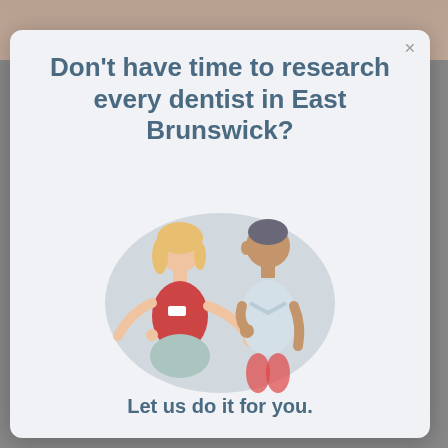Don't have time to research every dentist in East Brunswick?
[Figure (illustration): Two illustrated people conversing — a woman in a red top with a name badge gesturing with open hands, and a man in a light blue shirt with his hand on his chest, both set against a soft blue-grey oval background.]
Let us do it for you.